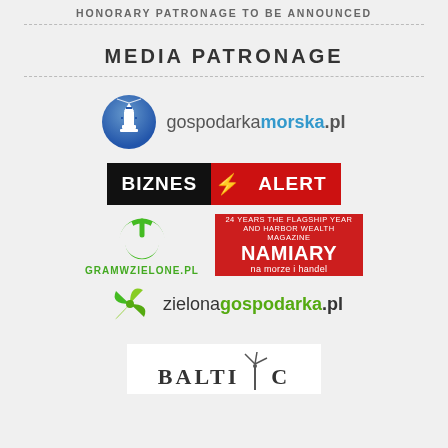HONORARY PATRONAGE TO BE ANNOUNCED
MEDIA PATRONAGE
[Figure (logo): gospodarkamorska.pl logo - blue circle with lighthouse icon and text]
[Figure (logo): BIZNES ALERT logo - black and red banner with bold white text]
[Figure (logo): GRAMWZIELONE.PL logo - green power button icon with green text]
[Figure (logo): NAMIARY na morze i handel logo - red background with white text]
[Figure (logo): zielonagospodarka.pl logo - green spiral icon with dark text]
[Figure (logo): BALTIC logo - partial view, white background with wind turbine graphic]